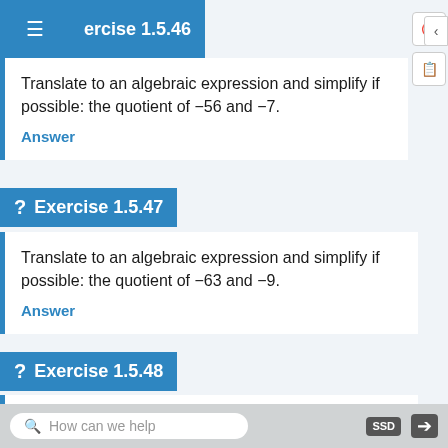Exercise 1.5.46
Translate to an algebraic expression and simplify if possible: the quotient of −56 and −7.
Answer
Exercise 1.5.47
Translate to an algebraic expression and simplify if possible: the quotient of −63 and −9.
Answer
Exercise 1.5.48
Translate to an algebraic expression and simplify if